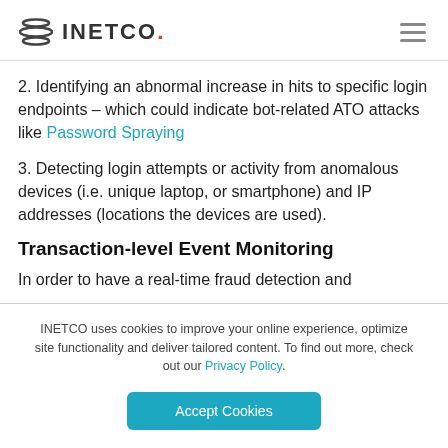INETCO.
2. Identifying an abnormal increase in hits to specific login endpoints – which could indicate bot-related ATO attacks like Password Spraying
3. Detecting login attempts or activity from anomalous devices (i.e. unique laptop, or smartphone) and IP addresses (locations the devices are used).
Transaction-level Event Monitoring
In order to have a real-time fraud detection and
INETCO uses cookies to improve your online experience, optimize site functionality and deliver tailored content. To find out more, check out our Privacy Policy.
Accept Cookies